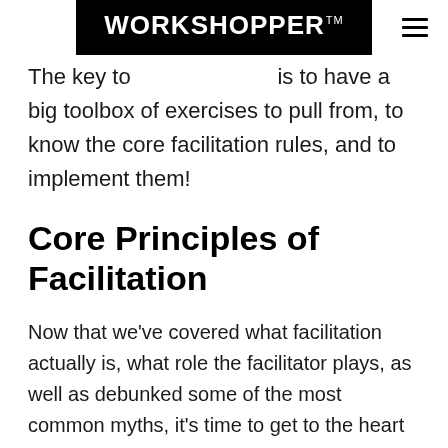WORKSHOPPER™
The key to ... is to have a big toolbox of exercises to pull from, to know the core facilitation rules, and to implement them!
Core Principles of Facilitation
Now that we've covered what facilitation actually is, what role the facilitator plays, as well as debunked some of the most common myths, it's time to get to the heart of learning how to facilitate effectively – the core principles of facilitation.